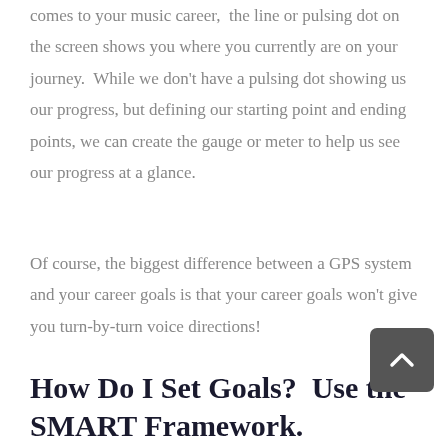comes to your music career,  the line or pulsing dot on the screen shows you where you currently are on your journey.  While we don't have a pulsing dot showing us our progress, but defining our starting point and ending points, we can create the gauge or meter to help us see our progress at a glance.
Of course, the biggest difference between a GPS system and your career goals is that your career goals won't give you turn-by-turn voice directions!
How Do I Set Goals?  Use the SMART Framework.